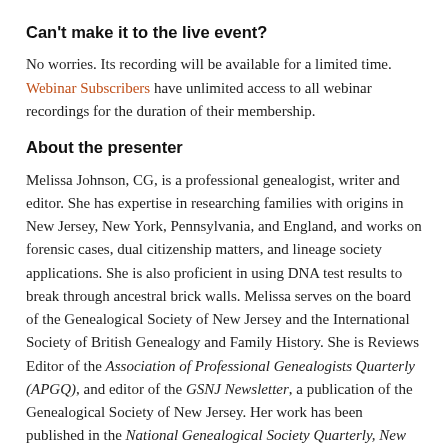Can't make it to the live event?
No worries. Its recording will be available for a limited time. Webinar Subscribers have unlimited access to all webinar recordings for the duration of their membership.
About the presenter
Melissa Johnson, CG, is a professional genealogist, writer and editor. She has expertise in researching families with origins in New Jersey, New York, Pennsylvania, and England, and works on forensic cases, dual citizenship matters, and lineage society applications. She is also proficient in using DNA test results to break through ancestral brick walls. Melissa serves on the board of the Genealogical Society of New Jersey and the International Society of British Genealogy and Family History. She is Reviews Editor of the Association of Professional Genealogists Quarterly (APGQ), and editor of the GSNJ Newsletter, a publication of the Genealogical Society of New Jersey. Her work has been published in the National Genealogical Society Quarterly, New York Genealogical & Biographical Record, Genealogical Magazine of